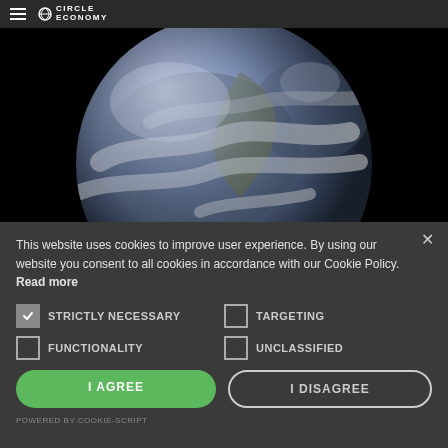Circle Economy navigation header
[Figure (photo): Photo of Earth from space (The Blue Marble) on a black background, showing continents, clouds, and oceans.]
This website uses cookies to improve user experience. By using our website you consent to all cookies in accordance with our Cookie Policy. Read more
STRICTLY NECESSARY (checked)
TARGETING (unchecked)
FUNCTIONALITY (unchecked)
UNCLASSIFIED (unchecked)
I AGREE
I DISAGREE
POWERED BY COOKIE-SCRIPT